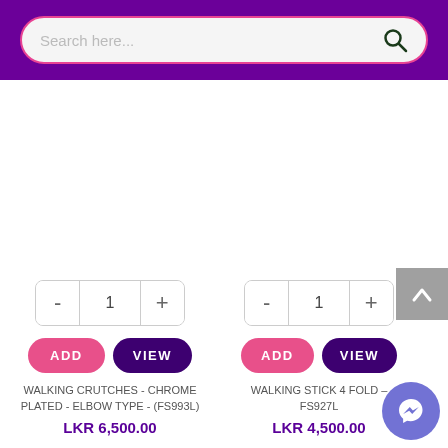[Figure (screenshot): Search bar with placeholder text 'Search here...' and a search icon, on a purple header background]
[Figure (screenshot): Product listing with quantity controls (- 1 +), ADD and VIEW buttons, product name 'WALKING CRUTCHES - CHROME PLATED - ELBOW TYPE - (FS993L)', price 'LKR 6,500.00']
[Figure (screenshot): Product listing with quantity controls (- 1 +), ADD and VIEW buttons, product name 'WALKING STICK 4 FOLD - FS927L', price 'LKR 4,500.00']
[Figure (screenshot): Back to top button (grey arrow up) and Messenger chat icon (purple circle with lightning bolt)]